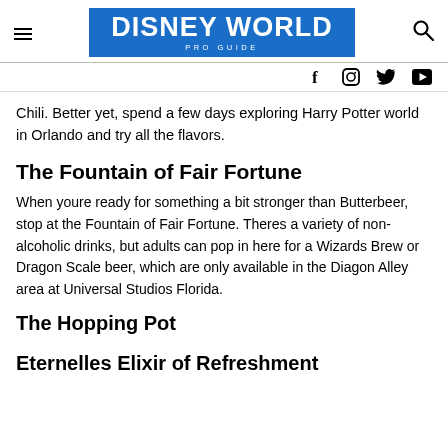DISNEY WORLD PRO GUIDE
Chili. Better yet, spend a few days exploring Harry Potter world in Orlando and try all the flavors.
The Fountain of Fair Fortune
When youre ready for something a bit stronger than Butterbeer, stop at the Fountain of Fair Fortune. Theres a variety of non-alcoholic drinks, but adults can pop in here for a Wizards Brew or Dragon Scale beer, which are only available in the Diagon Alley area at Universal Studios Florida.
The Hopping Pot
Eternelles Elixir of Refreshment